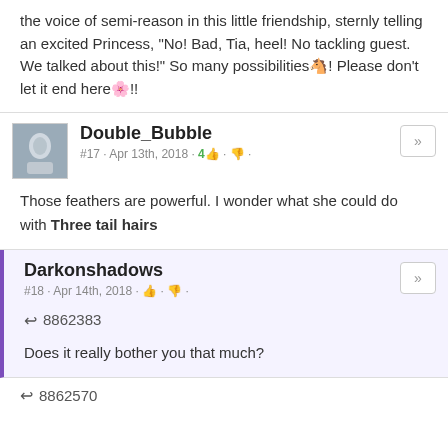the voice of semi-reason in this little friendship, sternly telling an excited Princess, "No! Bad, Tia, heel! No tackling guest. We talked about this!" So many possibilities!! Please don't let it end here!!
Double_Bubble
#17 · Apr 13th, 2018 · 4 [likes]
Those feathers are powerful. I wonder what she could do with Three tail hairs
Darkonshadows
#18 · Apr 14th, 2018
↩ 8862383
Does it really bother you that much?
↩ 8862570